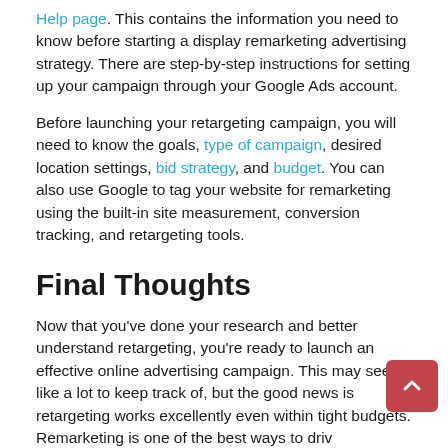Help page. This contains the information you need to know before starting a display remarketing advertising strategy. There are step-by-step instructions for setting up your campaign through your Google Ads account.
Before launching your retargeting campaign, you will need to know the goals, type of campaign, desired location settings, bid strategy, and budget. You can also use Google to tag your website for remarketing using the built-in site measurement, conversion tracking, and retargeting tools.
Final Thoughts
Now that you've done your research and better understand retargeting, you're ready to launch an effective online advertising campaign. This may seem like a lot to keep track of, but the good news is retargeting works excellently even within tight budgets. Remarketing is one of the best ways to drive conversation and turn your website traffic into real profits no matter the products or services you provide.